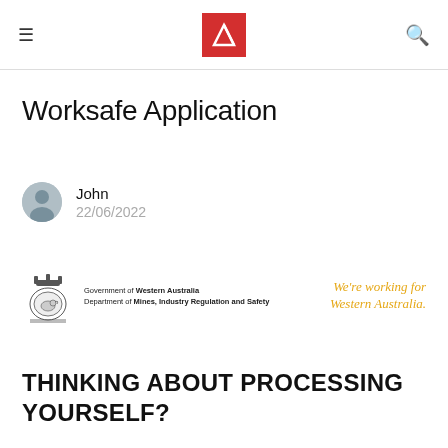≡ [Logo] 🔍
Worksafe Application
John
22/06/2022
[Figure (logo): Government of Western Australia, Department of Mines, Industry Regulation and Safety logo with coat-of-arms emblem, and slogan 'We're working for Western Australia' in yellow cursive]
THINKING ABOUT PROCESSING YOURSELF?